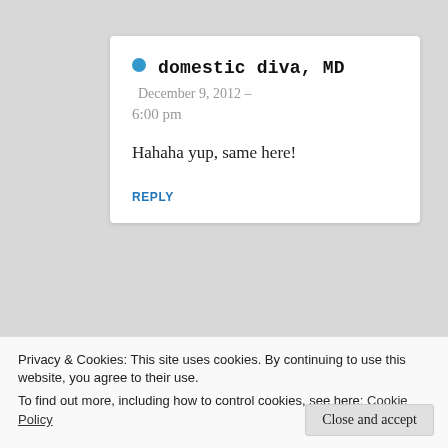domestic diva, MD  December 9, 2012 — 6:00 pm

Hahaha yup, same here!

REPLY
[Figure (screenshot): Green banner advertisement for a WordPress backup plugin with text 'WordPress backup plugin' and a white button reading 'Back up your site']
Privacy & Cookies: This site uses cookies. By continuing to use this website, you agree to their use.
To find out more, including how to control cookies, see here: Cookie Policy
Close and accept